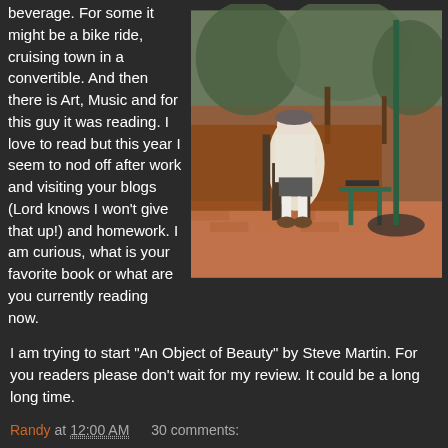beverage. For some it might be a bike ride, cruising town in a convertible. And then there is Art, Music and for this guy it was reading. I love to read but this year I seem to nod off after work and visiting your blogs (Lord knows I won't give that up!) and homework. I am curious, what is your favorite book or what are you currently reading now. I am trying to start "An Object of Beauty" by Steve Martin. For you readers please don't wait for my review. It could be a long long time.
[Figure (photo): An elderly man sitting on a bench outdoors on a brick patio, reading. There is a green side table next to him, trees and a reddish-brown wall in the background.]
Randy at 12:00 AM   30 comments: